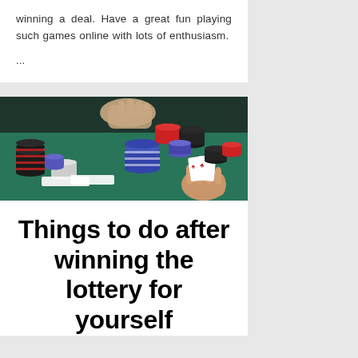winning a deal. Have a great fun playing such games online with lots of enthusiasm.
...
[Figure (photo): A poker table scene with casino chips, playing cards, and hands of players dealing cards on a green felt table.]
Things to do after winning the lottery for yourself